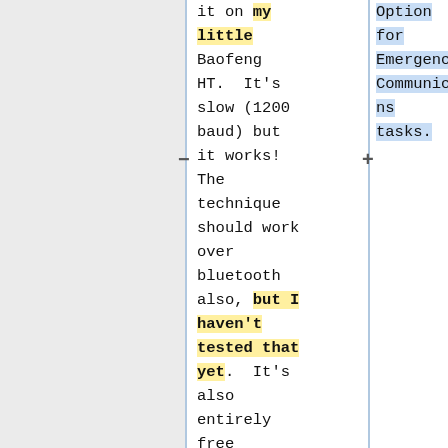it on my little Baofeng HT. It's slow (1200 baud) but it works! The technique should work over bluetooth also, but I haven't tested that yet. It's also entirely free (although I strongly recommend
Option for Emergency Communications tasks.